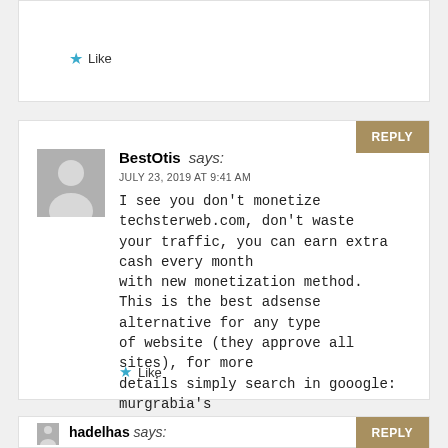Like
BestOtis says:
JULY 23, 2019 AT 9:41 AM
I see you don't monetize techsterweb.com, don't waste
your traffic, you can earn extra cash every month
with new monetization method.
This is the best adsense alternative for any type
of website (they approve all sites), for more
details simply search in gooogle: murgrabia's
tools
Like
hadelhas says: